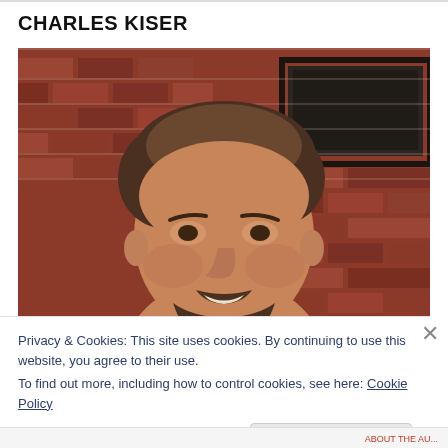CHARLES KISER
[Figure (photo): Headshot of a smiling man with brown hair and a beard/mustache, standing in front of a red brick wall with a dark window visible in the upper right background.]
Privacy & Cookies: This site uses cookies. By continuing to use this website, you agree to their use.
To find out more, including how to control cookies, see here: Cookie Policy
Close and accept